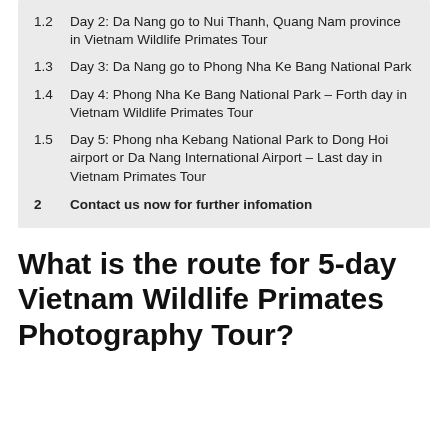1.2 Day 2: Da Nang go to Nui Thanh, Quang Nam province in Vietnam Wildlife Primates Tour
1.3 Day 3: Da Nang go to Phong Nha Ke Bang National Park
1.4 Day 4: Phong Nha Ke Bang National Park – Forth day in Vietnam Wildlife Primates Tour
1.5 Day 5: Phong nha Kebang National Park to Dong Hoi airport or Da Nang International Airport – Last day in Vietnam Primates Tour
2 Contact us now for further infomation
What is the route for 5-day Vietnam Wildlife Primates Photography Tour?